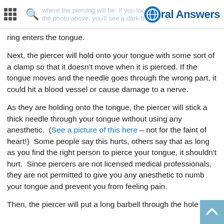Oral Answers
ring enters the tongue.
Next, the piercer will hold onto your tongue with some sort of a clamp so that it doesn't move when it is pierced. If the tongue moves and the needle goes through the wrong part, it could hit a blood vessel or cause damage to a nerve.
As they are holding onto the tongue, the piercer will stick a thick needle through your tongue without using any anesthetic.  (See a picture of this here – not for the faint of heart!)  Some people say this hurts, others say that as long as you find the right person to pierce your tongue, it shouldn't hurt.  Since piercers are not licensed medical professionals, they are not permitted to give you any anesthetic to numb your tongue and prevent you from feeling pain.
Then, the piercer will put a long barbell through the hole